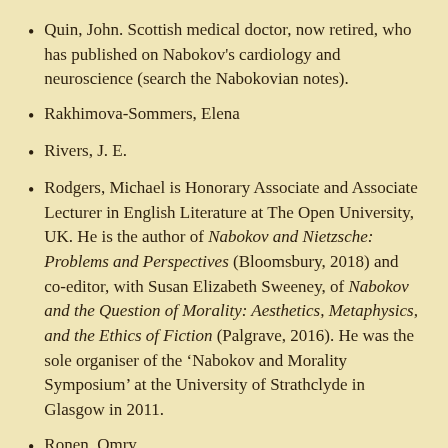Quin, John. Scottish medical doctor, now retired, who has published on Nabokov's cardiology and neuroscience (search the Nabokovian notes).
Rakhimova-Sommers, Elena
Rivers, J. E.
Rodgers, Michael is Honorary Associate and Associate Lecturer in English Literature at The Open University, UK. He is the author of Nabokov and Nietzsche: Problems and Perspectives (Bloomsbury, 2018) and co-editor, with Susan Elizabeth Sweeney, of Nabokov and the Question of Morality: Aesthetics, Metaphysics, and the Ethics of Fiction (Palgrave, 2016). He was the sole organiser of the ‘Nabokov and Morality Symposium’ at the University of Strathclyde in Glasgow in 2011.
Ronen, Omry
Roth, Matthew has been an active member of the